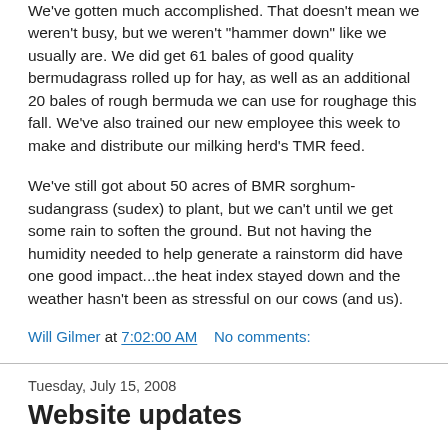We've gotten much accomplished. That doesn't mean we weren't busy, but we weren't "hammer down" like we usually are. We did get 61 bales of good quality bermudagrass rolled up for hay, as well as an additional 20 bales of rough bermuda we can use for roughage this fall. We've also trained our new employee this week to make and distribute our milking herd's TMR feed.
We've still got about 50 acres of BMR sorghum-sudangrass (sudex) to plant, but we can't until we get some rain to soften the ground. But not having the humidity needed to help generate a rainstorm did have one good impact...the heat index stayed down and the weather hasn't been as stressful on our cows (and us).
Will Gilmer at 7:02:00 AM   No comments:
Tuesday, July 15, 2008
Website updates
I've made a few minor updates to several of the pages on Gilmer Dairy Farm... these include the "F...